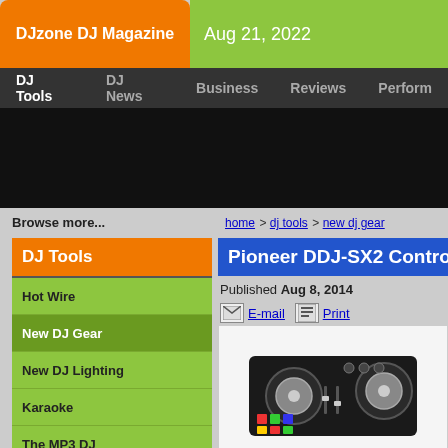DJzone DJ Magazine
Aug 21, 2022
DJ Tools  DJ News  Business  Reviews  Perform
[Figure (other): Black advertisement banner area]
Browse more...
home > dj tools > new dj gear
DJ Tools
Hot Wire
New DJ Gear
New DJ Lighting
Karaoke
The MP3 DJ
Music Video DJ Gear
Tech Talk
Music Production
Pioneer DDJ-SX2 Contro
Published Aug 8, 2014
E-mail  Print
[Figure (photo): Pioneer DDJ-SX2 DJ controller device photo]